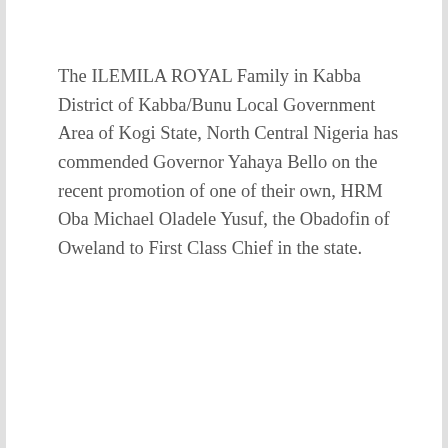The ILEMILA ROYAL Family in Kabba District of Kabba/Bunu Local Government Area of Kogi State, North Central Nigeria has commended Governor Yahaya Bello on the recent promotion of one of their own, HRM Oba Michael Oladele Yusuf, the Obadofin of Oweland to First Class Chief in the state.